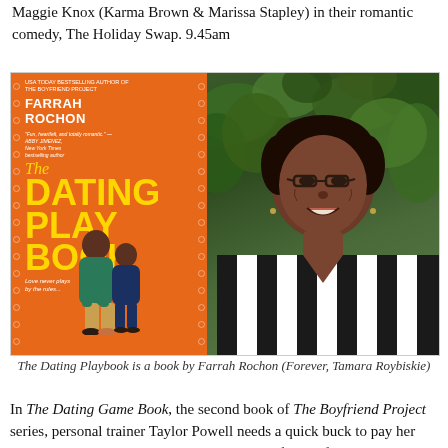9.45am Maggie Knox and The Holiday Swap Maggie Knox (Karma Brown & Marissa Stapley) in their romantic comedy, The Holiday Swap. 9.45am
[Figure (photo): Left panel: book cover of 'The Dating Playbook' by Farrah Rochon with orange background and yellow title text. Right panel: author photo of Farrah Rochon (Tamara Roybiskie), a smiling woman wearing glasses and a black-and-white striped top, with green foliage background.]
The Dating Playbook is a book by Farrah Rochon (Forever, Tamara Roybiskie)
In The Dating Game Book, the second book of The Boyfriend Project series, personal trainer Taylor Powell needs a quick buck to pay her overdue bills and rent. Enter Jamar Dixon, a former football player who wants to return to the NFL. He a her to train him in secret, but when exposed, audiences ass